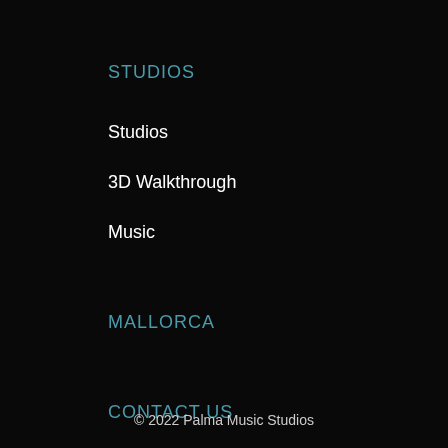STUDIOS
Studios
3D Walkthrough
Music
MALLORCA
CONTACT US
Contact
© 2022 Palma Music Studios